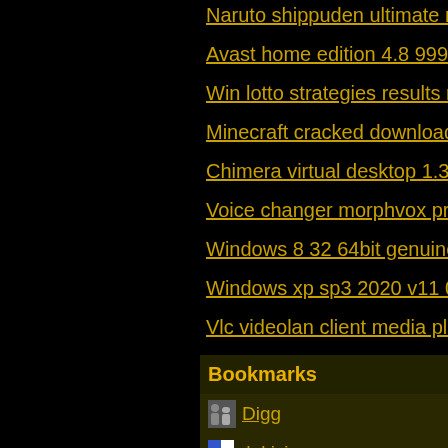Naruto shippuden ultimate ninja he
Avast home edition 4.8 999 real ke
Win lotto strategies results ny
Minecraft cracked download 1.8 ch
Chimera virtual desktop 1.3.7 apk
Voice changer morphvox pro versi
Windows 8 32 64bit genuine activa
Windows xp sp3 2020 v11 01
Vlc videolan client media player 0.
Bookmarks
Digg
del.icio.us